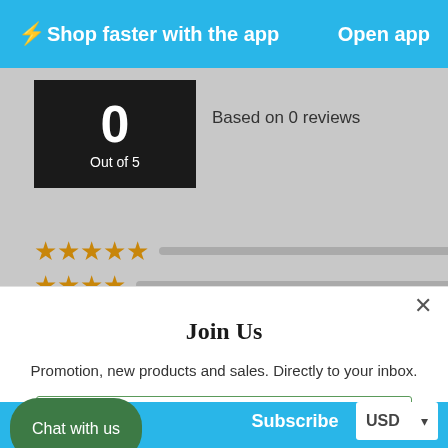⚡Shop faster with the app   Open app
0
Out of 5
Based on 0 reviews
[Figure (other): Five gold stars rating row with progress bar showing (0) reviews]
[Figure (other): Four gold stars rating row with progress bar showing (0) reviews]
Join Us
Promotion, new products and sales. Directly to your inbox.
Your email
Chat with us   Subscribe   USD